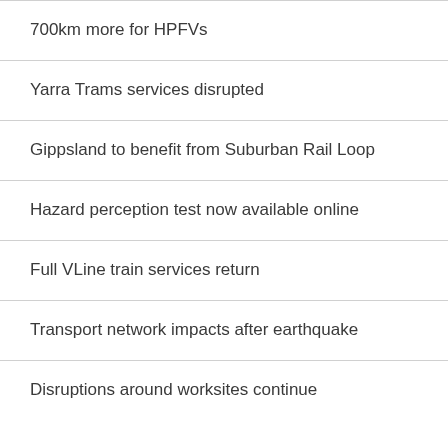700km more for HPFVs
Yarra Trams services disrupted
Gippsland to benefit from Suburban Rail Loop
Hazard perception test now available online
Full VLine train services return
Transport network impacts after earthquake
Disruptions around worksites continue